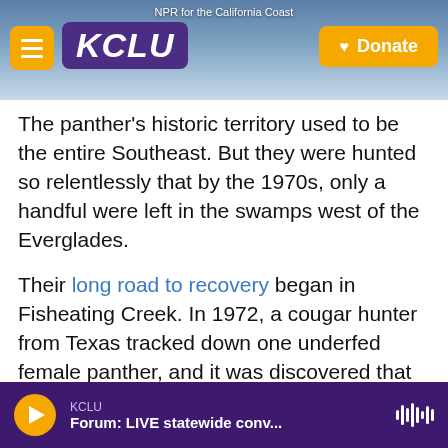[Figure (screenshot): KCLU NPR website header with logo, hamburger menu, donate button, and coastal background photo. Text reads 'NPR for the California Coast'.]
The panther's historic territory used to be the entire Southeast. But they were hunted so relentlessly that by the 1970s, only a handful were left in the swamps west of the Everglades.
Their long road to recovery began in Fisheating Creek. In 1972, a cougar hunter from Texas tracked down one underfed female panther, and it was discovered that inbreeding was hampering their ability to reproduce. Twenty-three years later, state legislators supported a plan for him to bring in eight female pumas from West Texas.
Nature took its course. What had once been fewer
KCLU  Forum: LIVE statewide conv...